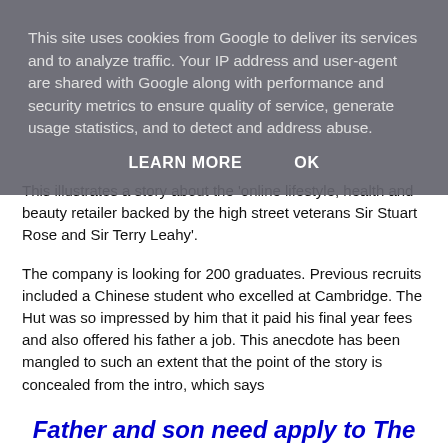This site uses cookies from Google to deliver its services and to analyze traffic. Your IP address and user-agent are shared with Google along with performance and security metrics to ensure quality of service, generate usage statistics, and to detect and address abuse.
LEARN MORE   OK
This illustrates a story about the 'online lifestyle, health and beauty retailer backed by the high street veterans Sir Stuart Rose and Sir Terry Leahy'.
The company is looking for 200 graduates. Previous recruits included a Chinese student who excelled at Cambridge. The Hut was so impressed by him that it paid his final year fees and also offered his father a job. This anecdote has been mangled to such an extent that the point of the story is concealed from the intro, which says
Father and son need apply to The Hut only if the latter came